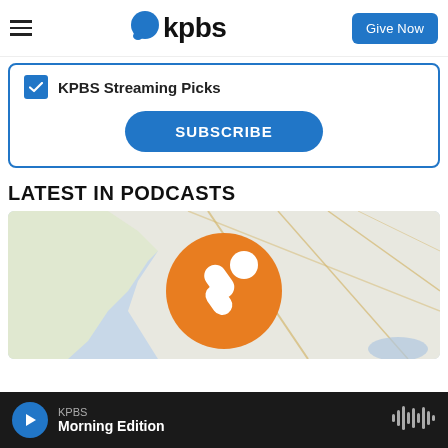KPBS — Give Now
KPBS Streaming Picks (checked)
SUBSCRIBE
LATEST IN PODCASTS
[Figure (illustration): Podcast thumbnail image showing a map background with an orange circular badge containing a white microphone/reporter icon]
KPBS
Morning Edition